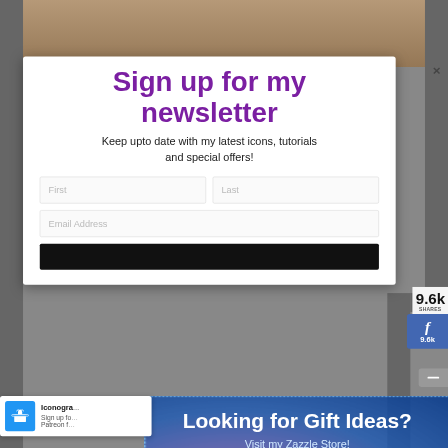[Figure (screenshot): Background page with icon/illustration at top, partially visible]
Sign up for my newsletter
Keep upto date with my latest icons, tutorials and special offers!
[Figure (screenshot): Newsletter signup modal with First name and Email Address input fields and a black subscribe button]
9.6k SHARES
[Figure (screenshot): Facebook share button showing 9.6k]
[Figure (infographic): Zotabox promotional overlay with dashed border, blue gradient background, 'Looking for Gift Ideas?' heading, 'Visit my Zazzle Store!' subtext, green 'Let's Do It' button, and 'Powered by zotabox' footer]
Looking for Gift Ideas?
Visit my Zazzle Store!
🎁 Let's Do It
Powered by zotabox
Iconogra... Sign up fo... Patreon f...